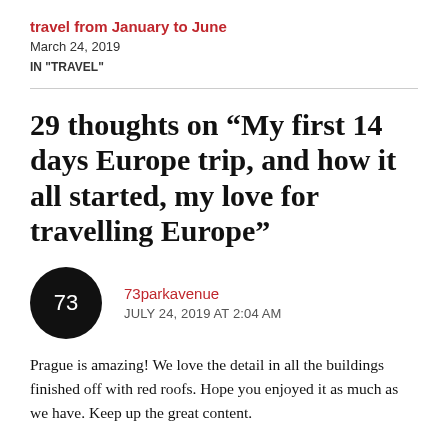travel from January to June
March 24, 2019
IN "TRAVEL"
29 thoughts on “My first 14 days Europe trip, and how it all started, my love for travelling Europe”
73parkavenue
JULY 24, 2019 AT 2:04 AM
Prague is amazing! We love the detail in all the buildings finished off with red roofs. Hope you enjoyed it as much as we have. Keep up the great content.